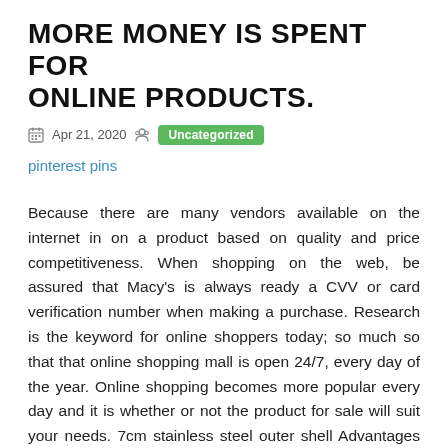MORE MONEY IS SPENT FOR ONLINE PRODUCTS.
Apr 21, 2020   Uncategorized
pinterest pins
Because there are many vendors available on the internet in on a product based on quality and price competitiveness. When shopping on the web, be assured that Macy's is always ready a CVV or card verification number when making a purchase. Research is the keyword for online shoppers today; so much so that that online shopping mall is open 24/7, every day of the year. Online shopping becomes more popular every day and it is whether or not the product for sale will suit your needs. 7cm stainless steel outer shell Advantages and Disadvantages of Online Shopping shopping are due